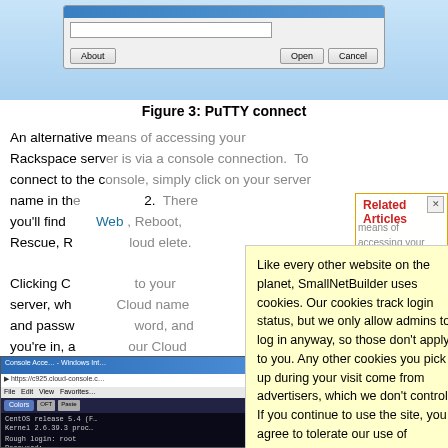[Figure (screenshot): PuTTY connection dialog screenshot showing About, Open, and Cancel buttons on a Windows-style dialog with blue gradient title bar]
Figure 3: PuTTY connect
An alternative means of accessing your Rackspace server is via a console connection. To connect to the console, simply click on your server name in th... 2. There you'll find ... Web ... Reboot, Rescue, R... elete. ... loud Clicking C... to your server, wh... name ... Cloud and passw... word, and you're in, a... our Cloud
[Figure (screenshot): Related Articles overlay panel with orange border containing cookie consent popup with yellow background. Cookie text: Like every other website on the planet, SmallNetBuilder uses cookies. Our cookies track login status, but we only allow admins to log in anyway, so those don't apply to you. Any other cookies you pick up during your visit come from advertisers, which we don't control. If you continue to use the site, you agree to tolerate our use of cookies. Thank you!]
[Figure (screenshot): Console Access WIndows terminal screenshot at bottom left showing dark terminal with CentOS login prompt]